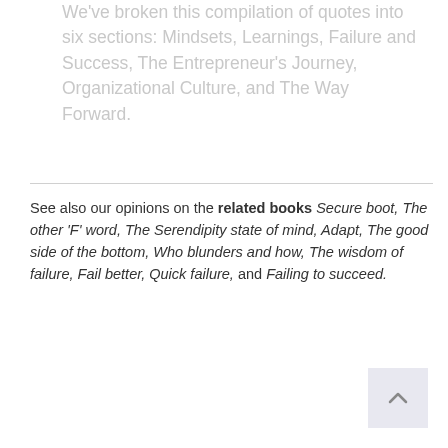We've broken this compilation of quotes into six sections: Mindsets, Learnings, Failure and Success, The Entrepreneur's Journey, Organizational Culture, and The Way Forward.
See also our opinions on the related books Secure boot, The other 'F' word, The Serendipity state of mind, Adapt, The good side of the bottom, Who blunders and how, The wisdom of failure, Fail better, Quick failure, and Failing to succeed.